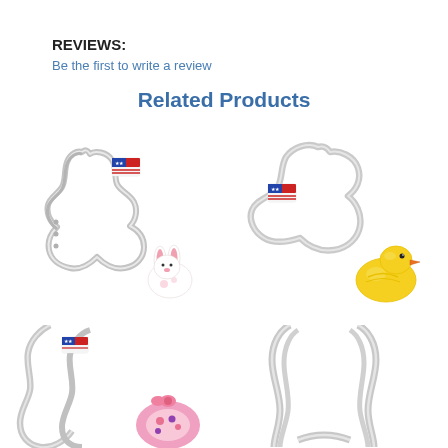REVIEWS:
Be the first to write a review
Related Products
[Figure (photo): Silver metal bunny/rabbit cookie cutter with American flag label, alongside a small white bunny figurine with pink ears]
[Figure (photo): Silver metal duck cookie cutter with American flag label, alongside a yellow rubber duck figurine]
[Figure (photo): Silver metal cookie cutter (partial view, bottom left) with colorful cookie decoration visible]
[Figure (photo): Silver metal bunny ears cookie cutter (partial view, bottom right)]